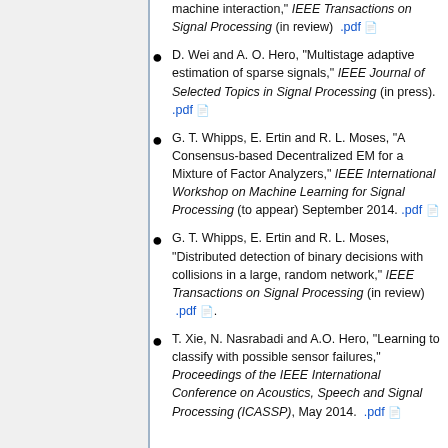machine interaction," IEEE Transactions on Signal Processing (in review) .pdf
D. Wei and A. O. Hero, "Multistage adaptive estimation of sparse signals," IEEE Journal of Selected Topics in Signal Processing (in press). .pdf
G. T. Whipps, E. Ertin and R. L. Moses, "A Consensus-based Decentralized EM for a Mixture of Factor Analyzers," IEEE International Workshop on Machine Learning for Signal Processing (to appear) September 2014. .pdf
G. T. Whipps, E. Ertin and R. L. Moses, "Distributed detection of binary decisions with collisions in a large, random network," IEEE Transactions on Signal Processing (in review) .pdf .
T. Xie, N. Nasrabadi and A.O. Hero, "Learning to classify with possible sensor failures," Proceedings of the IEEE International Conference on Acoustics, Speech and Signal Processing (ICASSP), May 2014. .pdf